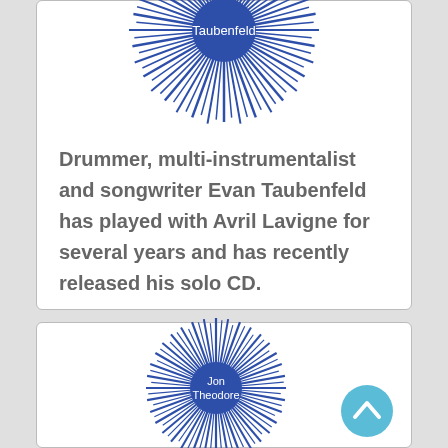[Figure (illustration): Blue starburst graphic with 'Taubenfeld' text in the center, partially visible at top of first card]
Drummer, multi-instrumentalist and songwriter Evan Taubenfeld has played with Avril Lavigne for several years and has recently released his solo CD.
[Figure (illustration): Blue starburst graphic with 'Jon Theodore' text in the center, partially visible at top of second card]
[Figure (illustration): Light blue circular scroll-up button with upward chevron arrow]